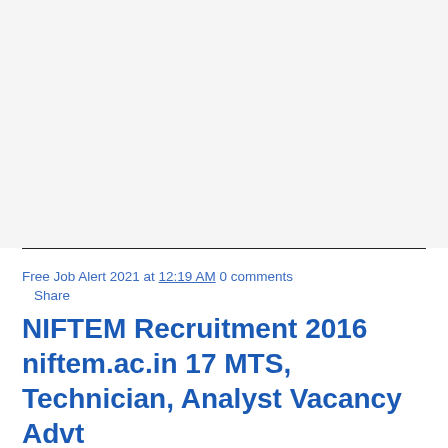[Figure (other): Blank/white-gray area at top of page, likely an advertisement placeholder]
Free Job Alert 2021 at 12:19 AM 0 comments
Share
NIFTEM Recruitment 2016 niftem.ac.in 17 MTS, Technician, Analyst Vacancy Advt
Advertisement